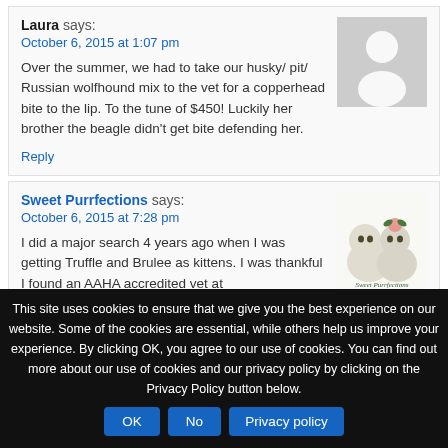Laura says:
October 6, 2015 at 1:07 pm
Over the summer, we had to take our husky/ pit/ Russian wolfhound mix to the vet for a copperhead bite to the lip. To the tune of $450! Luckily her brother the beagle didn't get bite defending her.
Reply
[Figure (illustration): Gray placeholder avatar silhouette image]
Sweet Purrfections says:
October 6, 2015 at 7:28 pm
I did a major search 4 years ago when I was getting Truffle and Brulee as kittens. I was thankful I found an AAHA accredited vet at
[Figure (logo): Sweet Purrfections logo with two white/gray cats and a pink flower, text reads Sweet Purrfections]
This site uses cookies to ensure that we give you the best experience on our website. Some of the cookies are essential, while others help us improve your experience. By clicking OK, you agree to our use of cookies. You can find out more about our use of cookies and our privacy policy by clicking on the Privacy Policy button below.